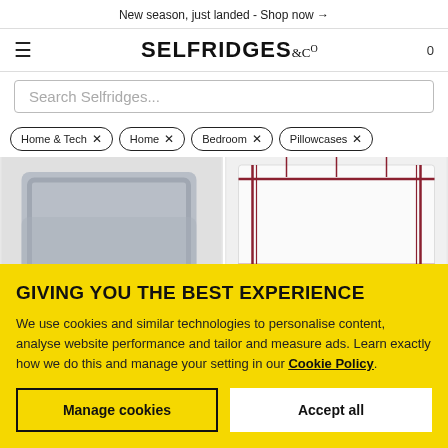New season, just landed - Shop now →
[Figure (logo): Selfridges & Co logo with hamburger menu and cart count]
Search Selfridges...
Home & Tech ×
Home ×
Bedroom ×
Pillowcases ×
[Figure (photo): Gray pillow/pillowcase product image on light background]
[Figure (photo): White pillowcase with dark red/burgundy border stripe on white background]
GIVING YOU THE BEST EXPERIENCE
We use cookies and similar technologies to personalise content, analyse website performance and tailor and measure ads. Learn exactly how we do this and manage your setting in our Cookie Policy.
Manage cookies
Accept all